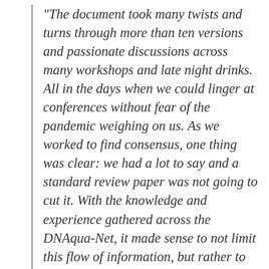“The document took many twists and turns through more than ten versions and passionate discussions across many workshops and late night drinks. All in the days when we could linger at conferences without fear of the pandemic weighing on us. As we worked to find consensus, one thing was clear: we had a lot to say and a standard review paper was not going to cut it. With the knowledge and experience gathered across the DNAqua-Net, it made sense to not limit this flow of information, but rather to try and tackle it head on and use it to address the many questions we’ve all